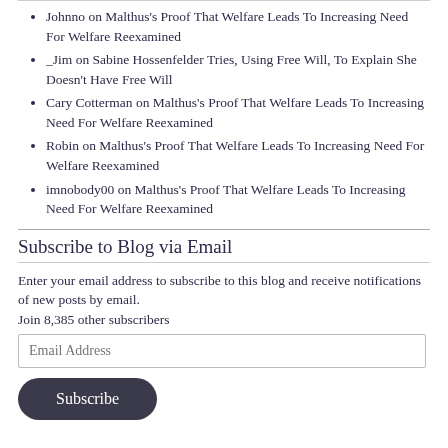Johnno on Malthus's Proof That Welfare Leads To Increasing Need For Welfare Reexamined
_Jim on Sabine Hossenfelder Tries, Using Free Will, To Explain She Doesn't Have Free Will
Cary Cotterman on Malthus's Proof That Welfare Leads To Increasing Need For Welfare Reexamined
Robin on Malthus's Proof That Welfare Leads To Increasing Need For Welfare Reexamined
imnobody00 on Malthus's Proof That Welfare Leads To Increasing Need For Welfare Reexamined
Subscribe to Blog via Email
Enter your email address to subscribe to this blog and receive notifications of new posts by email.
Join 8,385 other subscribers